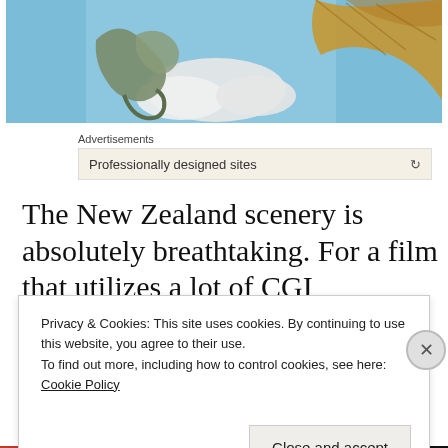[Figure (photo): A dragon-like creature flying in a sky with clouds, with a large golden/brown wing visible on the right side. Blue sky background with white clouds below.]
Advertisements
Professionally designed sites
The New Zealand scenery is absolutely breathtaking. For a film that utilizes a lot of CGI
Privacy & Cookies: This site uses cookies. By continuing to use this website, you agree to their use.
To find out more, including how to control cookies, see here: Cookie Policy
Close and accept